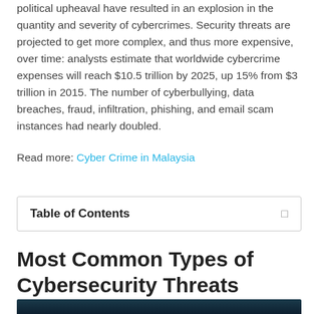political upheaval have resulted in an explosion in the quantity and severity of cybercrimes. Security threats are projected to get more complex, and thus more expensive, over time: analysts estimate that worldwide cybercrime expenses will reach $10.5 trillion by 2025, up 15% from $3 trillion in 2015. The number of cyberbullying, data breaches, fraud, infiltration, phishing, and email scam instances had nearly doubled.
Read more: Cyber Crime in Malaysia
| Table of Contents |
| --- |
Most Common Types of Cybersecurity Threats
[Figure (photo): Dark teal/navy background image strip at the bottom of the page, appears to be the top of a cybersecurity-themed photo.]